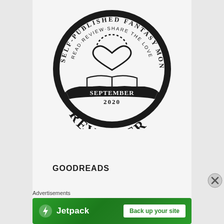[Figure (logo): Self-Published Fantasy Month circular badge/seal. Dark circle with text around the outer ring: 'SELF-PUBLISHED FANTASY MONTH' at the top and 'READ·REVIEW·SHARE THE LOVE' on the inner ring. Center contains a heart above an open book icon. Bottom banner inside circle reads 'SEPTEMBER 2020' and large text 'REVIEWER' curves across the bottom of the badge.]
GOODREADS
Advertisements
[Figure (screenshot): Jetpack advertisement banner with green gradient background. Left side shows Jetpack logo (lightning bolt in circle) and 'Jetpack' text in white. Right side has white button saying 'Back up your site'.]